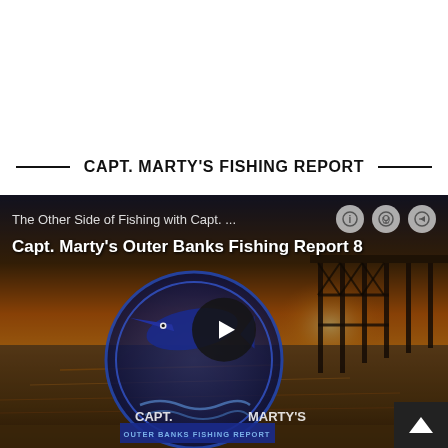CAPT. MARTY'S FISHING REPORT
[Figure (screenshot): Video player screenshot showing a podcast/video titled 'Capt. Marty's Outer Banks Fishing Report 8' with a beach pier sunset background and a circular fishing logo overlay. A large play button is centered on the image. Top bar shows subtitle 'The Other Side of Fishing with Capt. ...' with info, podcast, and share icons. A back-to-top arrow button appears bottom right.]